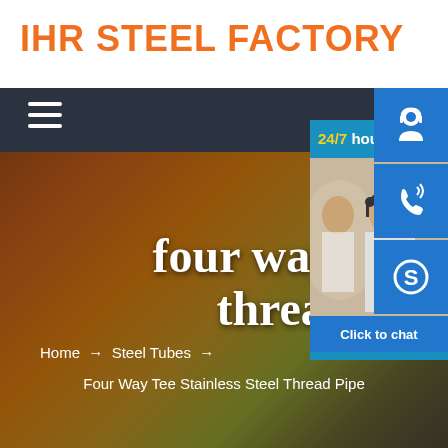IHR STEEL FACTORY
[Figure (screenshot): Website screenshot showing IHR Steel Factory header with navigation bar, background image of steel pipes, main title 'four way tee stainless steel thread pipe', breadcrumb navigation, and contact widget with 24/7 hour service icons and Click to chat button]
four way tee stainless steel thread pipe
Home → Steel Tubes → Four Way Tee Stainless Steel Thread Pipe